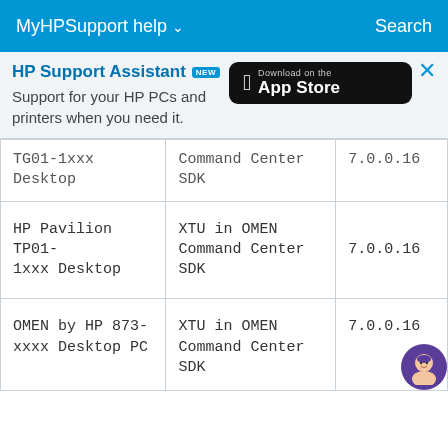MyHPSupport help ∨   Search
[Figure (screenshot): HP Support Assistant banner with 'NEW' badge, subtitle 'Support for your HP PCs and printers when you need it.' and an App Store download button. A close (×) button is in the top right.]
| TG01-1xxx Desktop | Command Center SDK | 7.0.0.16 |
| HP Pavilion TP01-1xxx Desktop | XTU in OMEN Command Center SDK | 7.0.0.16 |
| OMEN by HP 873-xxxx Desktop PC | XTU in OMEN Command Center SDK | 7.0.0.16 |